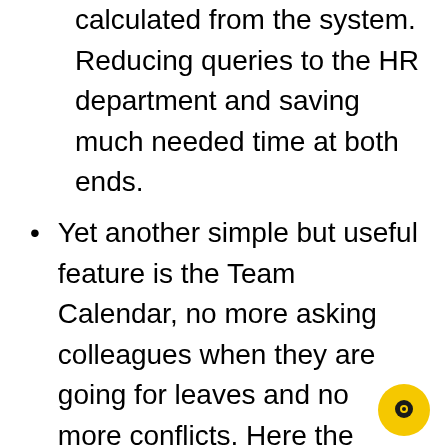calculated from the system. Reducing queries to the HR department and saving much needed time at both ends.
Yet another simple but useful feature is the Team Calendar, no more asking colleagues when they are going for leaves and no more conflicts. Here the employees can see their entire team's calendar and plan leaves accordingly, in real time. Managers and Approvers have a full view of their entire teams working